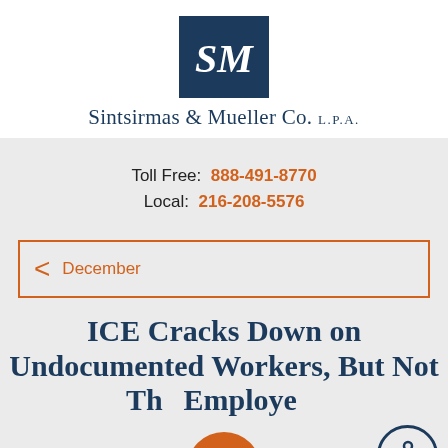[Figure (logo): SM logo: white italic SM letters on dark navy blue background square]
Sintsirmas & Mueller Co. L.P.A.
Toll Free: 888-491-8770
Local: 216-208-5576
< December
ICE Cracks Down on Undocumented Workers, But Not The Employers